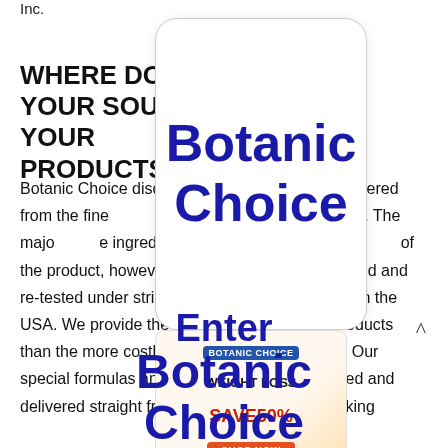Inc.
WHERE DO YOU SOURCE YOUR PRODUCTS?
Botanic Choice discovers the best natural items offered from the finest reputable suppliers all over the world. The majority of the ingredients are globally sourced due to the nature of the product, however, they are evaluated, manufactured and re-tested under stringent cGMP/FDA standards in the USA. We provide the same or better quality products than the more costly nationwide brand names. Our special formulas and supplements are packaged and delivered straight from our FDA-registered making
[Figure (screenshot): Popup card overlay showing 'Botanic Choice' in large dark blue text on white card with rounded corners]
[Figure (illustration): Weight loss advertisement for Botanic Choice showing a slim figure with 'WEIGHT LOSS SAVE 50%' text and a shop now button]
Enter Botanic Choice